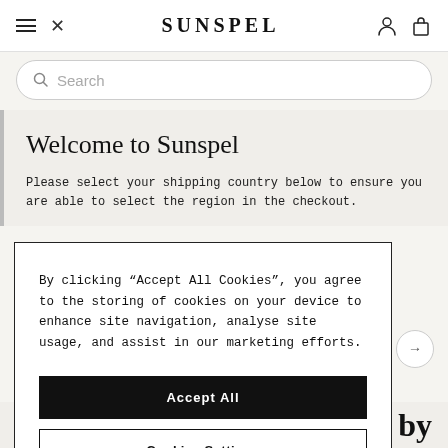SUNSPEL
Search
Welcome to Sunspel
Please select your shipping country below to ensure you are able to select the region in the checkout.
By clicking “Accept All Cookies”, you agree to the storing of cookies on your device to enhance site navigation, analyse site usage, and assist in our marketing efforts.
Accept All
Cookies Settings